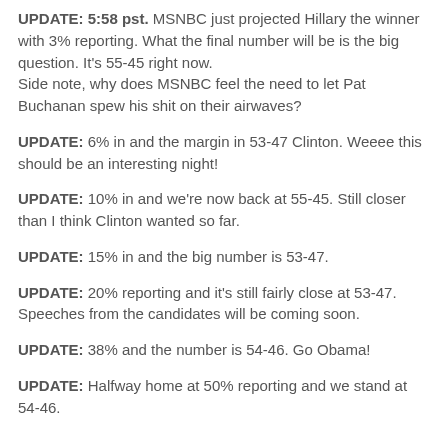UPDATE: 5:58 pst. MSNBC just projected Hillary the winner with 3% reporting. What the final number will be is the big question. It's 55-45 right now.
Side note, why does MSNBC feel the need to let Pat Buchanan spew his shit on their airwaves?
UPDATE: 6% in and the margin in 53-47 Clinton. Weeee this should be an interesting night!
UPDATE: 10% in and we're now back at 55-45. Still closer than I think Clinton wanted so far.
UPDATE: 15% in and the big number is 53-47.
UPDATE: 20% reporting and it's still fairly close at 53-47. Speeches from the candidates will be coming soon.
UPDATE: 38% and the number is 54-46. Go Obama!
UPDATE: Halfway home at 50% reporting and we stand at 54-46.